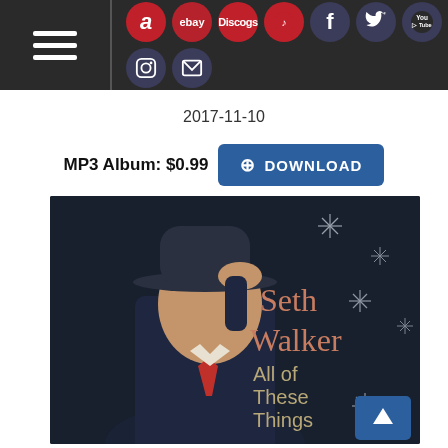Navigation bar with hamburger menu, Amazon, eBay, Discogs, social media icons (Facebook, Twitter, YouTube, Instagram, Mail)
2017-11-10
MP3 Album: $0.99  ⊕ DOWNLOAD
[Figure (photo): Album cover for Seth Walker 'All of These Things' — man in dark suit and hat with red tie, wintery snowflake background, artist name and album title in coral/gold text]